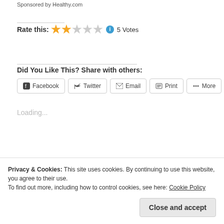Sponsored by Healthy.com
Rate this: ★★☆☆☆ ℹ 5 Votes
Did You Like This? Share with others:
Facebook   Twitter   Email   Print   More
Loading...
Related
Privacy & Cookies: This site uses cookies. By continuing to use this website, you agree to their use.
To find out more, including how to control cookies, see here: Cookie Policy
Close and accept